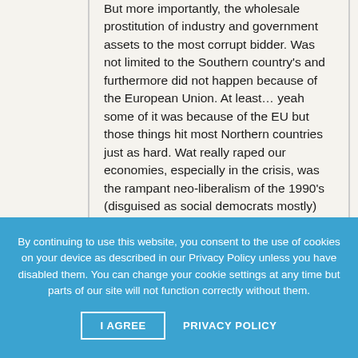But more importantly, the wholesale prostitution of industry and government assets to the most corrupt bidder. Was not limited to the Southern country's and furthermore did not happen because of the European Union. At least… yeah some of it was because of the EU but those things hit most Northern countries just as hard. Wat really raped our economies, especially in the crisis, was the rampant neo-liberalism of the 1990's (disguised as social democrats mostly) that sweeped Europe at that time. If you think the Netherlands is very industrialised you're wrong. Most people work in service/support jobs, i.e. health care, office work, retail etc.
By continuing to use this website, you consent to the use of cookies on your device as described in our Privacy Policy unless you have disabled them. You can change your cookie settings at any time but parts of our site will not function correctly without them.
I AGREE
PRIVACY POLICY